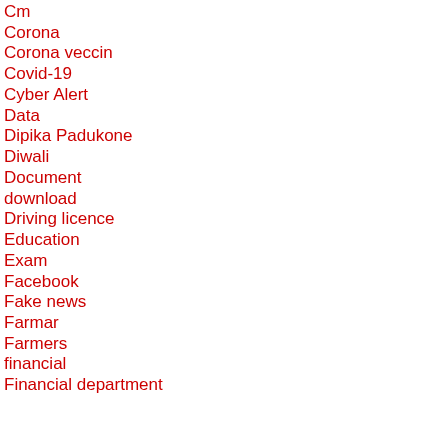Cm
Corona
Corona veccin
Covid-19
Cyber Alert
Data
Dipika Padukone
Diwali
Document
download
Driving licence
Education
Exam
Facebook
Fake news
Farmar
Farmers
financial
Financial department